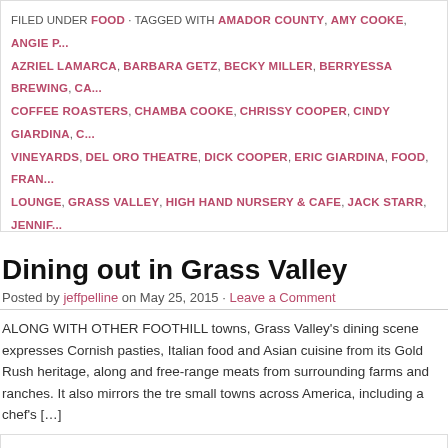FILED UNDER FOOD · TAGGED WITH AMADOR COUNTY, AMY COOKE, ANGIE P... AZRIEL LAMARCA, BARBARA GETZ, BECKY MILLER, BERRYESSA BREWING, CA... COFFEE ROASTERS, CHAMBA COOKE, CHRISSY COOPER, CINDY GIARDINA, C... VINEYARDS, DEL ORO THEATRE, DICK COOPER, ERIC GIARDINA, FOOD, FRAN... LOUNGE, GRASS VALLEY, HIGH HAND NURSERY & CAFE, JACK STARR, JENNIF... COOPER, JESSICA GIARDINA, JIM GOWAN, KENNY GOWAN, LAURIE STERNER... BREWING CO., MICHAEL GETZ, MICHAEL LAMARCA, MICHAEL STERNER, NEVA... THEATRE, OL' REPUBLIC, PENN VALLEY, PHIL STARR, PLYMOUTH, RESTAURAN... SIERRA CINEMAS, SIERRA STARR, STEVE GIARDINA, SUMMER THYME'S BAKE... PURDY, SUTTON CINEMAS, TOFANELLI'S GOLD COUNTRY BISTRO, TRACE FIK... WINE, WINERY, ZACH STERNER
Dining out in Grass Valley
Posted by jeffpelline on May 25, 2015 · Leave a Comment
ALONG WITH OTHER FOOTHILL towns, Grass Valley's dining scene expresses Cornish pasties, Italian food and Asian cuisine from its Gold Rush heritage, along and free-range meats from surrounding farms and ranches. It also mirrors the tre small towns across America, including a chef's […]
FILED UNDER FOOD, FWA BLOG · TAGGED WITH ALAN TANGREN, AMY COOKE... MARY, CHEF'S TABLE, CHEZ PANISSE, CIRINO'S AT MAIN STREET, CORNISH PA...